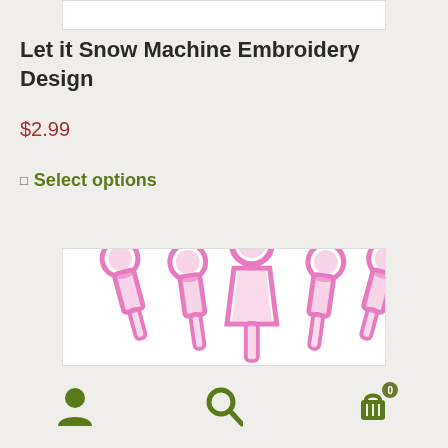[Figure (photo): White product image placeholder bar at top]
Let it Snow Machine Embroidery Design
$2.99
Select options
[Figure (photo): Embroidery design showing five pink snowflake/person figures in a row on a white background]
User icon | Search icon | Cart icon with badge 0